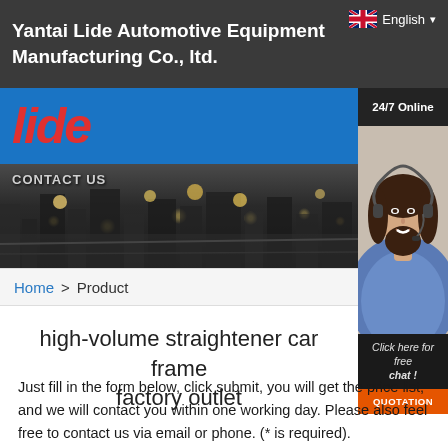Yantai Lide Automotive Equipment Manufacturing Co., ltd.
[Figure (logo): Lide logo in red italic text on blue background strip]
[Figure (photo): City skyline at night with bright lights — CONTACT US text overlay]
[Figure (photo): Woman with headset smiling — 24/7 Online support sidebar with Click here for free chat and QUOTATION button]
Home > Product
high-volume straightener car frame factory outlet
Just fill in the form below, click submit, you will get the price list, and we will contact you within one working day. Please also feel free to contact us via email or phone. (* is required).